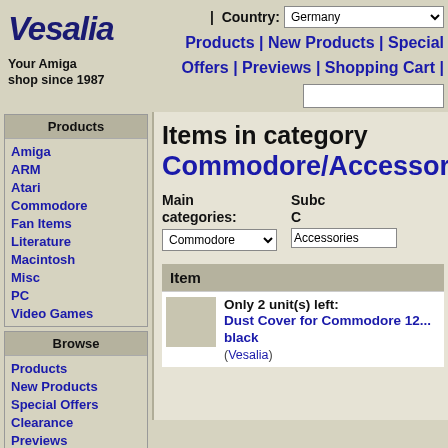Vesalia
Your Amiga shop since 1987
| Country: Germany
Products | New Products | Special Offers | Previews | Shopping Cart |
Products
Amiga
ARM
Atari
Commodore
Fan Items
Literature
Macintosh
Misc
PC
Video Games
Browse
Products
New Products
Special Offers
Clearance
Previews
Items in category Commodore/Accessories
Main categories: Commodore | Subcategory: Accessories
Item
Only 2 unit(s) left: Dust Cover for Commodore 12... black (Vesalia)